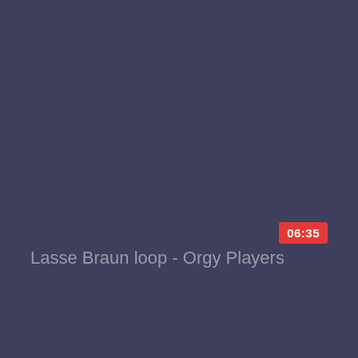Lasse Braun loop - Orgy Players
06:35